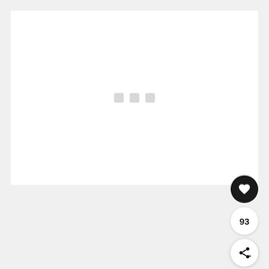[Figure (screenshot): A white content area (loading state) with three small grey square loading indicator dots centered in the panel. Below the panel are UI action buttons: a dark heart/like button, a count showing 93, and a share button with a share icon.]
93